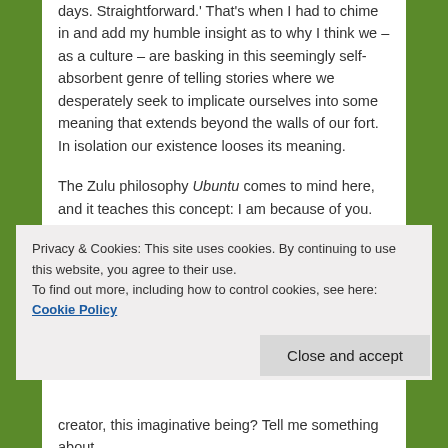days. Straightforward.' That's when I had to chime in and add my humble insight as to why I think we – as a culture – are basking in this seemingly self-absorbent genre of telling stories where we desperately seek to implicate ourselves into some meaning that extends beyond the walls of our fort. In isolation our existence looses its meaning.
The Zulu philosophy Ubuntu comes to mind here, and it teaches this concept: I am because of you.
There is a growing market for personal essays, which can be seen, in effect, as attempts at letting the other know about you. We find personal essays in literary magazines, newspapers, popular magazines, trade and professional
Privacy & Cookies: This site uses cookies. By continuing to use this website, you agree to their use.
To find out more, including how to control cookies, see here: Cookie Policy
Close and accept
creator, this imaginative being? Tell me something about